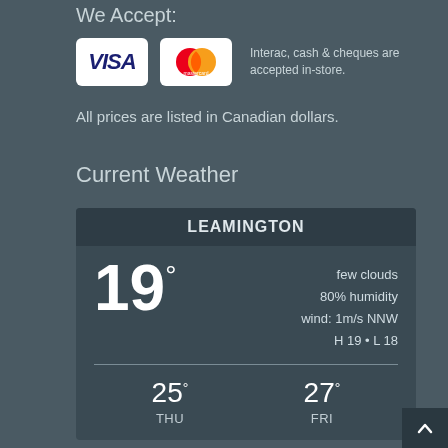We Accept:
[Figure (logo): Visa and Mastercard payment logos with text: Interac, cash & cheques are accepted in-store.]
All prices are listed in Canadian dollars.
Current Weather
[Figure (infographic): Weather widget for Leamington showing 19 degrees, few clouds, 80% humidity, wind: 1m/s NNW, H 19 L 18. Forecast: THU 25 degrees, FRI 27 degrees.]